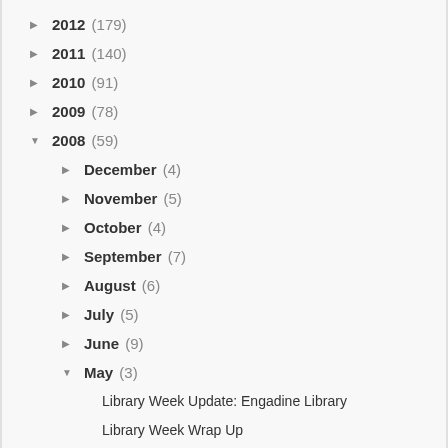► 2012 (179)
► 2011 (140)
► 2010 (91)
► 2009 (78)
▼ 2008 (59)
► December (4)
► November (5)
► October (4)
► September (7)
► August (6)
► July (5)
► June (9)
▼ May (3)
Library Week Update: Engadine Library
Library Week Wrap Up
National Simultaneous Storytime on Wednesday May 21
► April (5)
► March (3)